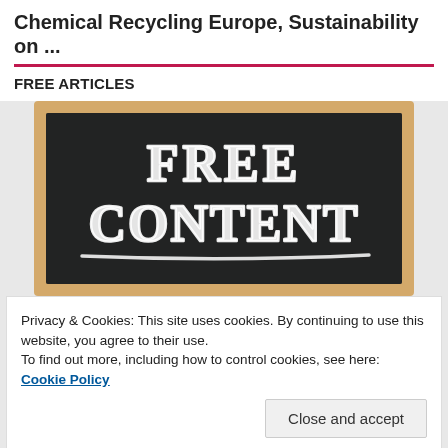Chemical Recycling Europe, Sustainability on ...
FREE ARTICLES
[Figure (photo): Chalkboard illustration with 'FREE CONTENT' written in chalk lettering with an underline, on a dark blackboard with a wooden frame]
Privacy & Cookies: This site uses cookies. By continuing to use this website, you agree to their use.
To find out more, including how to control cookies, see here: Cookie Policy
Close and accept
[Figure (illustration): Colorful stick figures running and a red gear/cog icon representing people and industry/work]